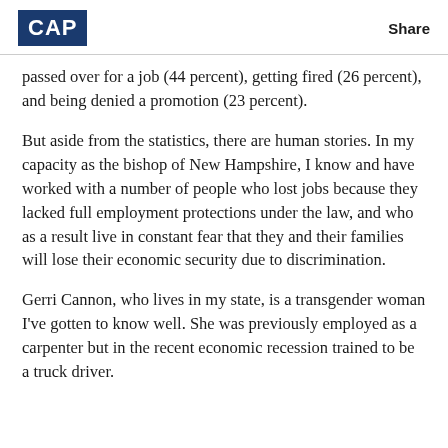CAP | Share
passed over for a job (44 percent), getting fired (26 percent), and being denied a promotion (23 percent).
But aside from the statistics, there are human stories. In my capacity as the bishop of New Hampshire, I know and have worked with a number of people who lost jobs because they lacked full employment protections under the law, and who as a result live in constant fear that they and their families will lose their economic security due to discrimination.
Gerri Cannon, who lives in my state, is a transgender woman I've gotten to know well. She was previously employed as a carpenter but in the recent economic recession trained to be a truck driver.